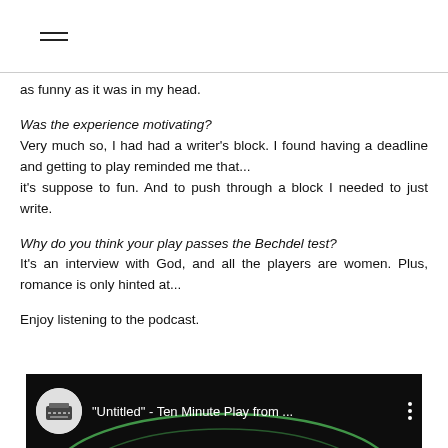≡ (hamburger menu)
as funny as it was in my head.
Was the experience motivating?
Very much so, I had had a writer's block. I found having a deadline and getting to play reminded me that...
it's suppose to fun. And to push through a block I needed to just write.
Why do you think your play passes the Bechdel test?
It's an interview with God, and all the players are women. Plus, romance is only hinted at...
Enjoy listening to the podcast.
[Figure (screenshot): YouTube video thumbnail showing '"Untitled" - Ten Minute Play from ...' with a typewriter icon and dark background with green arc lines]